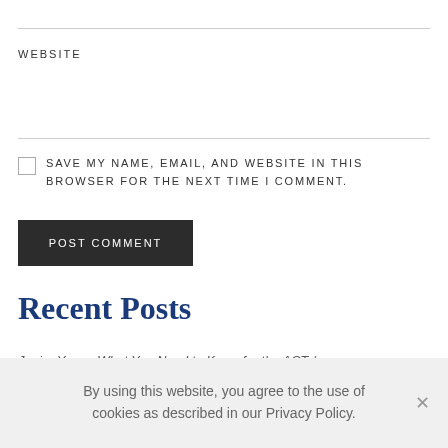WEBSITE
SAVE MY NAME, EMAIL, AND WEBSITE IN THIS BROWSER FOR THE NEXT TIME I COMMENT.
POST COMMENT
Recent Posts
Junior Years: What You Need to Know for the ACT /
By using this website, you agree to the use of cookies as described in our Privacy Policy.